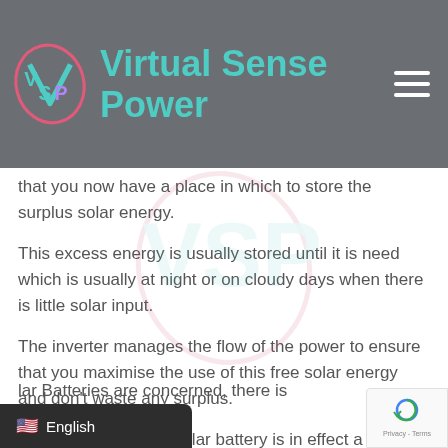Virtual Sense Power
that you now have a place in which to store the surplus solar energy.
This excess energy is usually stored until it is need which is usually at night or on cloudy days when there is little solar input.
The inverter manages the flow of the power to ensure that you maximise the use of this free solar energy and don't waste any surplus.
So in other words, a solar battery is in effect a storage unit where all the excess energy which is generated during sunshiny days is store
lar Batteries are concerned, there is